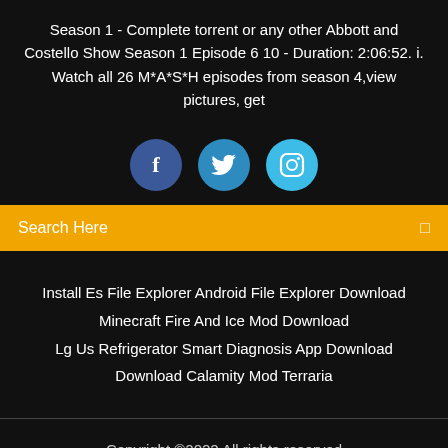Season 1 - Complete torrent or any other Abbott and Costello Show Season 1 Episode 6 10 - Duration: 2:06:52. i. Watch all 26 M*A*S*H episodes from season 4,view pictures, get
[Figure (illustration): Three social media icon circles: Facebook (dark blue), Twitter (medium blue), Instagram (light blue)]
Search Here
Install Es File Explorer Android File Explorer Download
Minecraft Fire And Ice Mod Download
Lg Us Refrigerator Smart Diagnosis App Download
Download Calamity Mod Terraria
Copyright ©2022 All rights reserved